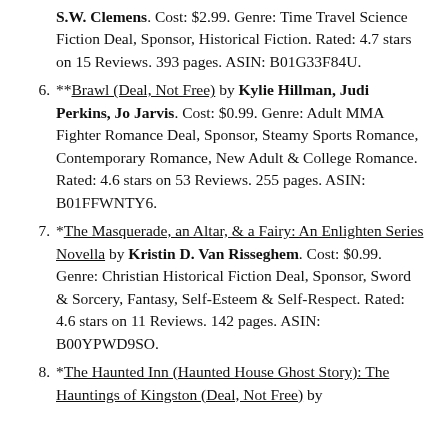S.W. Clemens. Cost: $2.99. Genre: Time Travel Science Fiction Deal, Sponsor, Historical Fiction. Rated: 4.7 stars on 15 Reviews. 393 pages. ASIN: B01G33F84U.
**Brawl (Deal, Not Free) by Kylie Hillman, Judi Perkins, Jo Jarvis. Cost: $0.99. Genre: Adult MMA Fighter Romance Deal, Sponsor, Steamy Sports Romance, Contemporary Romance, New Adult & College Romance. Rated: 4.6 stars on 53 Reviews. 255 pages. ASIN: B01FFWNTY6.
*The Masquerade, an Altar, & a Fairy: An Enlighten Series Novella by Kristin D. Van Risseghem. Cost: $0.99. Genre: Christian Historical Fiction Deal, Sponsor, Sword & Sorcery, Fantasy, Self-Esteem & Self-Respect. Rated: 4.6 stars on 11 Reviews. 142 pages. ASIN: B00YPWD9SO.
*The Haunted Inn (Haunted House Ghost Story): The Hauntings of Kingston (Deal, Not Free) by